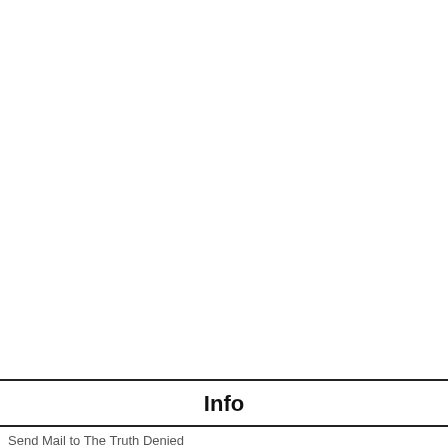Info
Send Mail to The Truth Denied